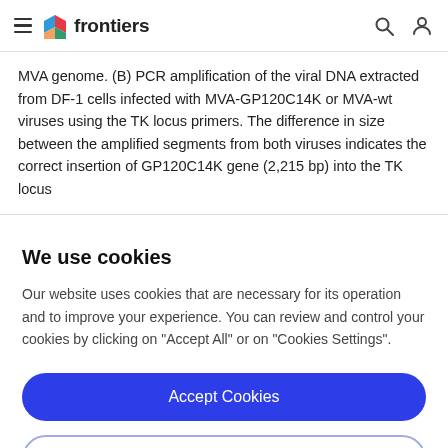frontiers
MVA genome. (B) PCR amplification of the viral DNA extracted from DF-1 cells infected with MVA-GP120C14K or MVA-wt viruses using the TK locus primers. The difference in size between the amplified segments from both viruses indicates the correct insertion of GP120C14K gene (2,215 bp) into the TK locus
We use cookies
Our website uses cookies that are necessary for its operation and to improve your experience. You can review and control your cookies by clicking on "Accept All" or on "Cookies Settings".
Accept Cookies
Cookies Settings